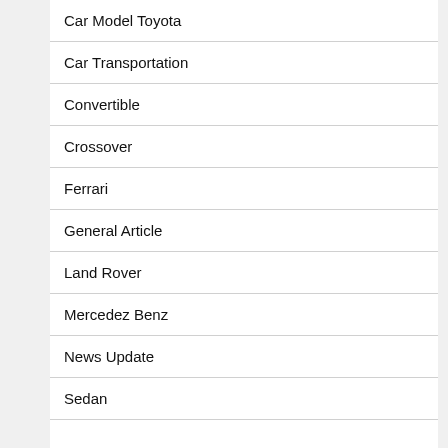Car Model Toyota
Car Transportation
Convertible
Crossover
Ferrari
General Article
Land Rover
Mercedez Benz
News Update
Sedan